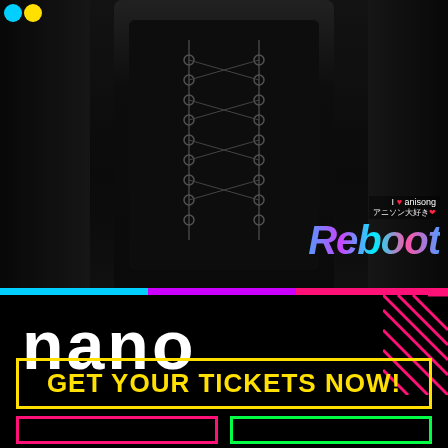[Figure (photo): Black and white photo of a person in a decorative military-style jacket on a street, with 'Reboot' holographic text overlay and 'I love anisong' logo in the lower right of the image area.]
nano
GET YOUR TICKETS NOW!